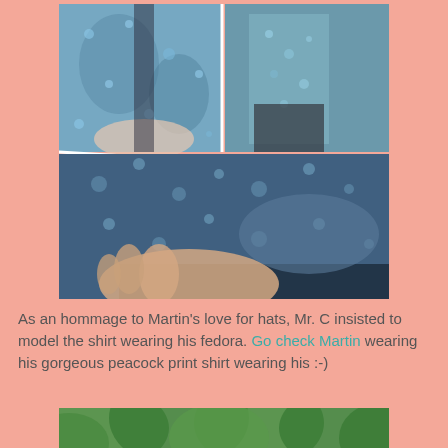[Figure (photo): Photo collage showing a person wearing a blue floral/peacock print shirt. Top portion shows two smaller images side by side: left shows close-up of the shirt fabric, right shows person wearing the shirt from behind. Bottom portion is a larger image of a hand holding/displaying the shirt cuff and fabric detail.]
As an hommage to Martin's love for hats, Mr. C insisted to model the shirt wearing his fedora. Go check Martin wearing his gorgeous peacock print shirt wearing his :-)
[Figure (photo): Partial photo of green trees/forest visible at the bottom of the page, cropped.]